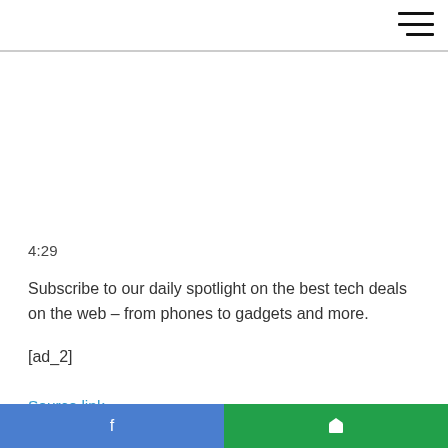4:29
Subscribe to our daily spotlight on the best tech deals on the web – from phones to gadgets and more.
[ad_2]
Source link